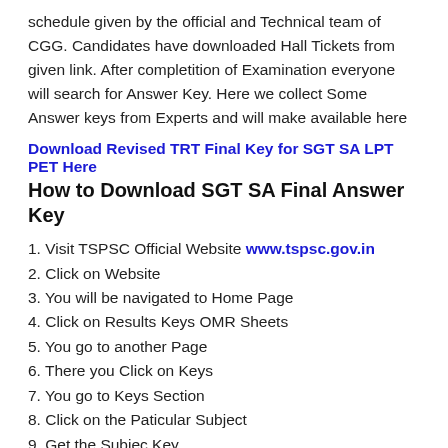schedule given by the official and Technical team of CGG. Candidates have downloaded Hall Tickets from given link. After completition of Examination everyone will search for Answer Key. Here we collect Some Answer keys from Experts and will make available here
Download Revised TRT Final Key for SGT SA LPT PET Here
How to Download SGT SA Final Answer Key
1. Visit TSPSC Official Website www.tspsc.gov.in
2. Click on Website
3. You will be navigated to Home Page
4. Click on Results Keys OMR Sheets
5. You go to another Page
6. There you Click on Keys
7. You go to Keys Section
8. Click on the Paticular Subject
9. Get the Subjec Key